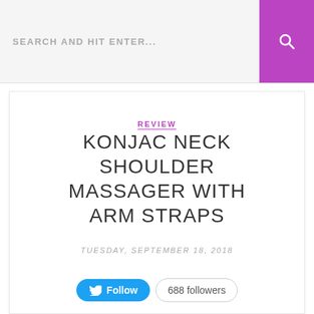SEARCH AND HIT ENTER...
REVIEW
KONJAC NECK SHOULDER MASSAGER WITH ARM STRAPS
TUESDAY, SEPTEMBER 18, 2018
Follow  688 followers